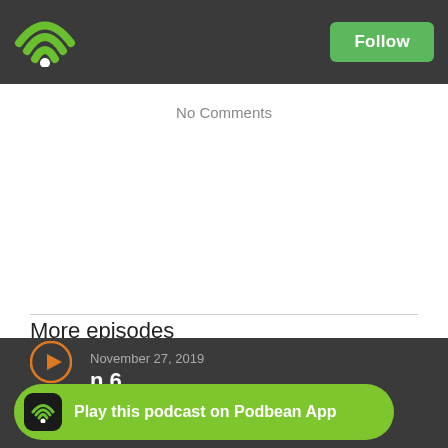Podbean app header with wifi logo and Follow button
No Comments
More episodes
November 27, 2019
n 6
Play this podcast on Podbean App